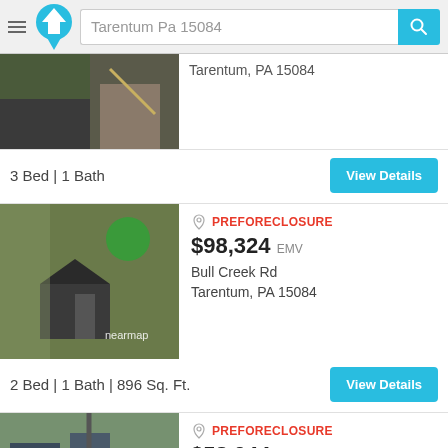Tarentum Pa 15084
Tarentum, PA 15084
3 Bed | 1 Bath
PREFORECLOSURE $98,324 EMV Bull Creek Rd Tarentum, PA 15084
2 Bed | 1 Bath | 896 Sq. Ft.
PREFORECLOSURE $58,044 EMV E 2nd Ave Tarentum, PA 15084